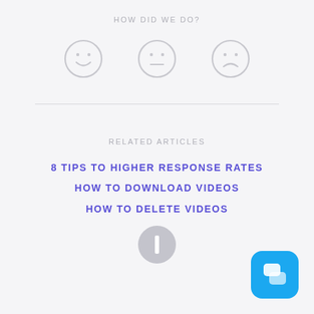HOW DID WE DO?
[Figure (illustration): Three emoji-style face icons in a row: happy face, neutral face, sad face — all in light gray outline style]
RELATED ARTICLES
8 TIPS TO HIGHER RESPONSE RATES
HOW TO DOWNLOAD VIDEOS
HOW TO DELETE VIDEOS
[Figure (logo): Gray circular logo with a vertical bar/play symbol in the center]
[Figure (illustration): Blue rounded square chat/messaging button icon in bottom right corner]